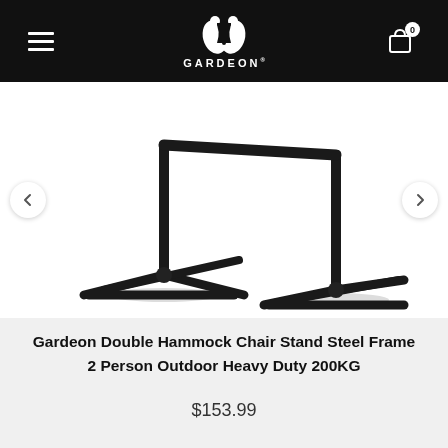GARDEON
[Figure (photo): A black steel hammock chair stand frame with two A-frame tripod legs connected by a horizontal bar, photographed on a white background.]
Gardeon Double Hammock Chair Stand Steel Frame 2 Person Outdoor Heavy Duty 200KG
$153.99